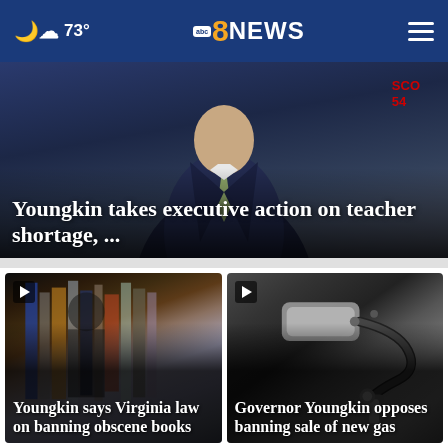abc 8NEWS — 73°
[Figure (screenshot): Top news story image showing a person in a dark suit and tie with a handwritten score label reading 'SCO 54' in the upper right. Overlay text reads: Youngkin takes executive action on teacher shortage, ...]
Youngkin takes executive action on teacher shortage, ...
[Figure (screenshot): News story thumbnail showing bookshelves with spines of many books, dimly lit. Play button icon in top left. Overlay text: Youngkin says Virginia law on banning obscene books]
Youngkin says Virginia law on banning obscene books
[Figure (screenshot): News story thumbnail showing a close-up of a gas pump nozzle. Play button icon in top left. Overlay text: Governor Youngkin opposes banning sale of new gas]
Governor Youngkin opposes banning sale of new gas